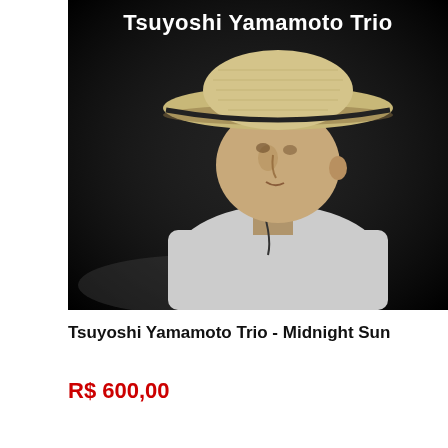[Figure (photo): Black and white album cover photo of Tsuyoshi Yamamoto Trio. Shows a young man wearing a wide-brimmed woven straw hat and a white t-shirt with a necklace, leaning forward. Text at top reads 'Tsuyoshi Yamamoto Trio' in white on dark background.]
Tsuyoshi Yamamoto Trio - Midnight Sun
R$ 600,00